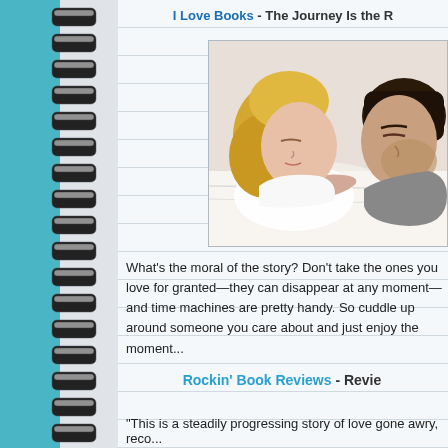I Love Books - The Journey Is the R...
[Figure (photo): A couple lying in bed, eyes closed, resting peacefully on white pillows and sheets. The woman is blonde, leaning against the man.]
What's the moral of the story? Don't take the ones you love for granted—they can disappear at any moment—and time machines are pretty handy. So cuddle up around someone you care about and just enjoy the moment...
Rockin' Book Reviews - Revie...
"This is a steadily progressing story of love gone awry, reco...